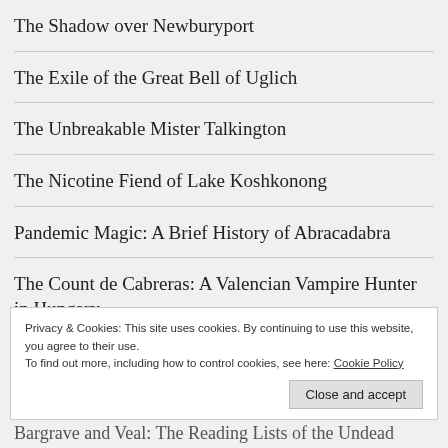The Shadow over Newburyport
The Exile of the Great Bell of Uglich
The Unbreakable Mister Talkington
The Nicotine Fiend of Lake Koshkonong
Pandemic Magic: A Brief History of Abracadabra
The Count de Cabreras: A Valencian Vampire Hunter in Hungary
The Fire Inside Willie Brough
Privacy & Cookies: This site uses cookies. By continuing to use this website, you agree to their use.
To find out more, including how to control cookies, see here: Cookie Policy
Close and accept
Bargrave and Veal: The Reading Lists of the Undead